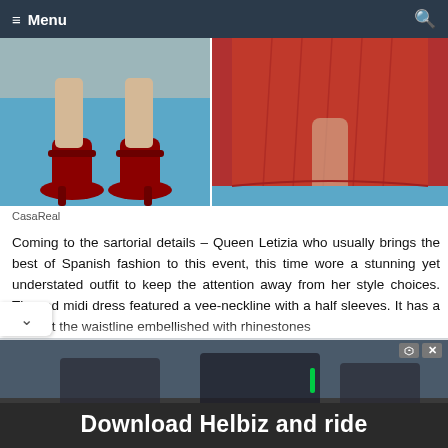≡ Menu
[Figure (photo): Two-panel photo: left panel shows close-up of red high-heel shoes with ankle straps on a blue carpet; right panel shows a red midi dress worn on a blue carpet event.]
CasaReal
Coming to the sartorial details – Queen Letizia who usually brings the best of Spanish fashion to this event, this time wore a stunning yet understated outfit to keep the attention away from her style choices. The red midi dress featured a vee-neckline with a half sleeves. It has a sash at the waistline embellished with rhinestones ted midi-length skirt.
[Figure (screenshot): Advertisement banner reading 'Download Helbiz and ride' with a dark background showing people on scooters/bikes.]